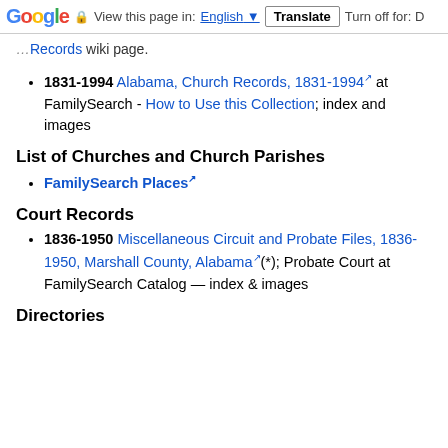Google | View this page in: English ▼ | Translate | Turn off for: D
Records wiki page.
1831-1994 Alabama, Church Records, 1831-1994 at FamilySearch - How to Use this Collection; index and images
List of Churches and Church Parishes
FamilySearch Places
Court Records
1836-1950 Miscellaneous Circuit and Probate Files, 1836-1950, Marshall County, Alabama(*); Probate Court at FamilySearch Catalog — index & images
Directories